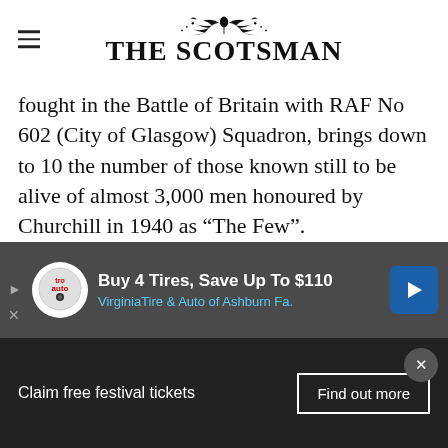[Figure (logo): The Scotsman newspaper logo with decorative thistle/floral ornament above masthead text]
fought in the Battle of Britain with RAF No 602 (City of Glasgow) Squadron, brings down to 10 the number of those known still to be alive of almost 3,000 men honoured by Churchill in 1940 as “The Few”.

Nicknamed “Rosebud” by his comrades, Rose destroyed his first enemy “bandit” on 25 August 1940, over the south coast of England. “Attacked Me110 circling from left to right in fro... second burst and saw E/A broke away down
[Figure (other): Advertisement banner: Buy 4 Tires, Save Up To $110 - Virginia Tire & Auto of Ashburn Fa.]
Claim free festival tickets
Find out more